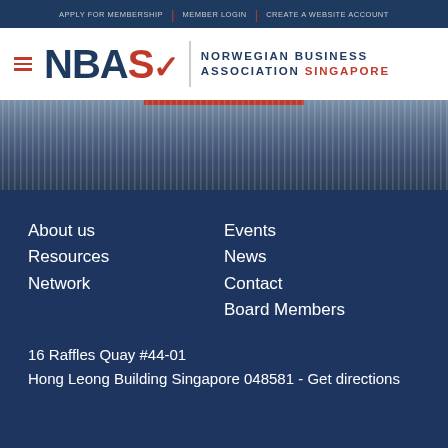APPLY FOR MEMBERSHIP | MEMBER LOGIN | CREATE A WEBSITE ACCOUNT
[Figure (logo): NBAS Norwegian Business Association Singapore logo with hamburger menu icon]
[Figure (photo): Dark blue curtain/drape background hero image with red bar accent at top center]
About us
Resources
Network
Events
News
Contact
Board Members
16 Raffles Quay #44-01
Hong Leong Building Singapore 048581 - Get directions